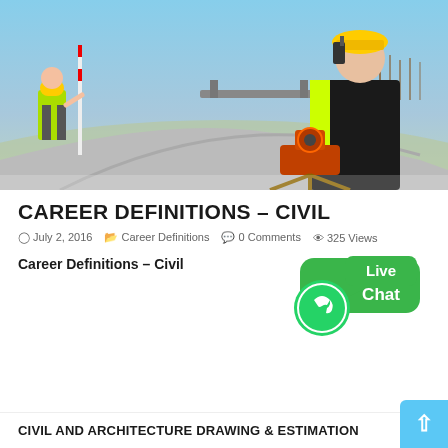[Figure (photo): Two civil engineers/surveyors on a road construction site. One man in the foreground wears a yellow hard hat and yellow high-visibility vest, using a surveying instrument (total station) and holding a walkie-talkie. Another worker in the background holds a survey rod near a curving road with a bridge overpass.]
CAREER DEFINITIONS – CIVIL
July 2, 2016  Career Definitions  0 Comments  325 Views
Career Definitions – Civil
[Figure (infographic): Live Chat widget with green speech bubbles showing WhatsApp logo and text 'Live Chat']
CIVIL AND ARCHITECTURE DRAWING & ESTIMATION